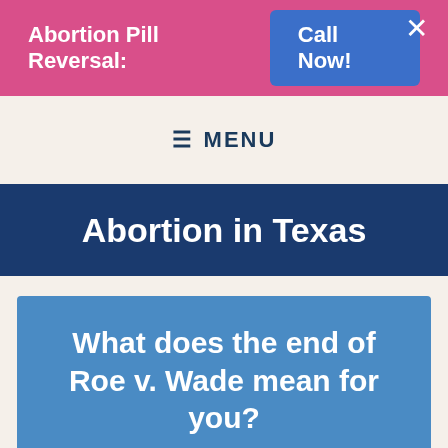Abortion Pill Reversal: Call Now!
≡ MENU
Abortion in Texas
What does the end of Roe v. Wade mean for you?